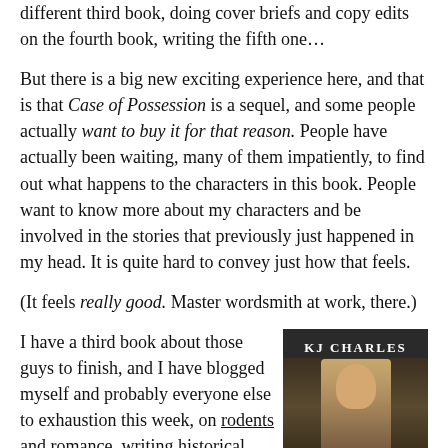different third book, doing cover briefs and copy edits on the fourth book, writing the fifth one…
But there is a big new exciting experience here, and that is that Case of Possession is a sequel, and some people actually want to buy it for that reason. People have actually been waiting, many of them impatiently, to find out what happens to the characters in this book. People want to know more about my characters and be involved in the stories that previously just happened in my head. It is quite hard to convey just how that feels.
(It feels really good. Master wordsmith at work, there.)
I have a third book about those guys to finish, and I have blogged myself and probably everyone else to exhaustion this week, on rodents and romance, writing historical paranormal, , the secondary characters shady side of Victorian London, and whether sex should be real or
[Figure (photo): Book cover for KJ Charles showing a man's face and upper body in dark atmospheric tones]